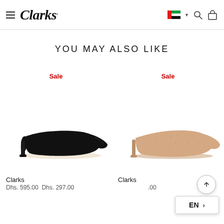Clarks header navigation with hamburger menu, Clarks logo, UAE flag, search and bag icons
YOU MAY ALSO LIKE
[Figure (photo): Black pointed-toe kitten heel mule shoe on white background]
[Figure (photo): Pink/blush suede pointed-toe kitten heel mule shoe on white background]
Sale
Sale
Clarks
Dhs. 595.00  Dhs. 297.00
Clarks
Dhs. .00